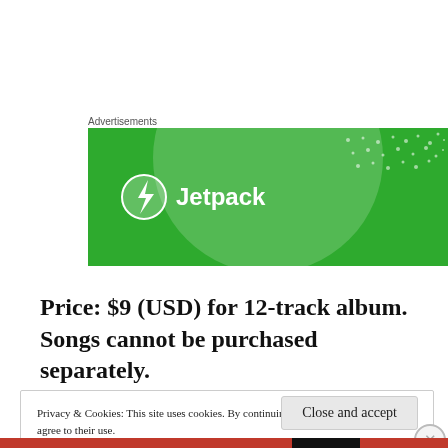Advertisements
[Figure (logo): Jetpack advertisement banner — green background with large translucent circle and dot pattern, Jetpack logo with lightning bolt icon and white text 'Jetpack']
Price: $9 (USD) for 12-track album. Songs cannot be purchased separately.
Privacy & Cookies: This site uses cookies. By continuing to use this website, you agree to their use.
To find out more, including how to control cookies, see here:
Cookie Policy
Close and accept